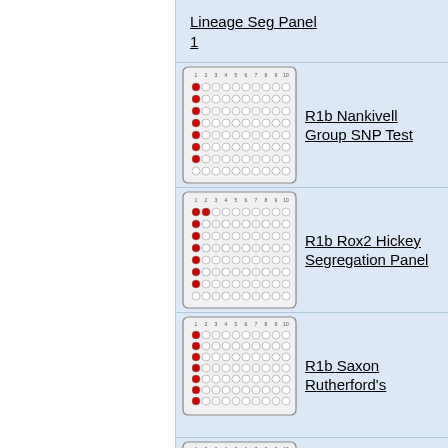Lineage Seg Panel 1
[Figure (other): 96-well plate diagram with red dots in first column rows 1-7, R1b Nankivell Group SNP Test]
R1b Nankivell Group SNP Test
[Figure (other): 96-well plate diagram with red dots in first two columns rows 1-7, R1b Rox2 Hickey Segregation Panel]
R1b Rox2 Hickey Segregation Panel
[Figure (other): 96-well plate diagram with red dots in first column rows 1-7, R1b Saxon Rutherford's]
R1b Saxon Rutherford's
[Figure (other): 96-well plate diagram with red dots in first column rows 1-6, R1b Tom Duffy Colla Panel]
R1b Tom Duffy Colla Panel
[Figure (other): 96-well plate diagram with red dots in first column rows 1-6, R1b Warburtons of Partington Panel]
R1b Warburtons of Partington Panel
R1b Worrall Family